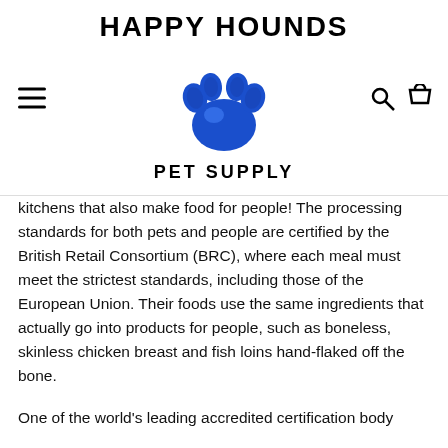[Figure (logo): Happy Hounds Pet Supply logo: text 'HAPPY HOUNDS' in bold black uppercase letters with a blue paw print graphic below, and 'PET SUPPLY' in bold black uppercase letters beneath the paw print.]
kitchens that also make food for people! The processing standards for both pets and people are certified by the British Retail Consortium (BRC), where each meal must meet the strictest standards, including those of the European Union. Their foods use the same ingredients that actually go into products for people, such as boneless, skinless chicken breast and fish loins hand-flaked off the bone.
One of the world's leading accredited certification body